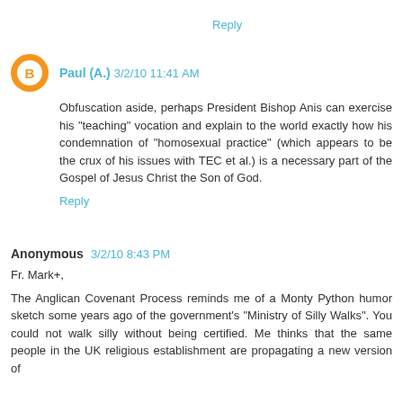Reply
Paul (A.) 3/2/10 11:41 AM
Obfuscation aside, perhaps President Bishop Anis can exercise his "teaching" vocation and explain to the world exactly how his condemnation of "homosexual practice" (which appears to be the crux of his issues with TEC et al.) is a necessary part of the Gospel of Jesus Christ the Son of God.
Reply
Anonymous 3/2/10 8:43 PM
Fr. Mark+,
The Anglican Covenant Process reminds me of a Monty Python humor sketch some years ago of the government's "Ministry of Silly Walks". You could not walk silly without being certified. Me thinks that the same people in the UK religious establishment are propagating a new version of